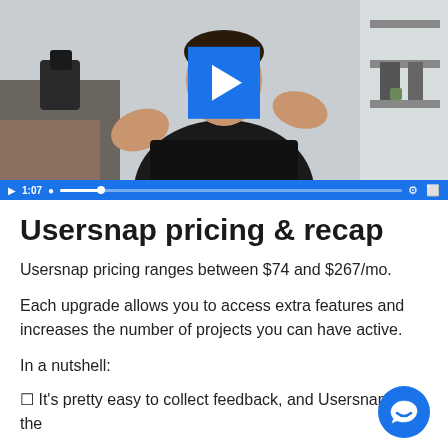[Figure (screenshot): Video player showing a man in a black shirt gesturing with hands, with a blue play button overlay and video controls bar showing timestamp 1:07]
Usersnap pricing & recap
Usersnap pricing ranges between $74 and $267/mo.
Each upgrade allows you to access extra features and increases the number of projects you can have active.
In a nutshell:
It's pretty easy to collect feedback, and Usersnap has the